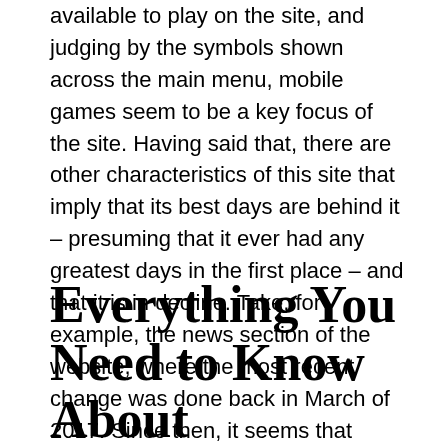available to play on the site, and judging by the symbols shown across the main menu, mobile games seem to be a key focus of the site. Having said that, there are other characteristics of this site that imply that its best days are behind it – presuming that it ever had any greatest days in the first place – and that it is in decline. Take, for example, the news section of the website, where the most recent change was done back in March of 2017. Since then, it seems that Kingsman Casino has been abandoned and allowed to rot.
Everything You Need to Know About